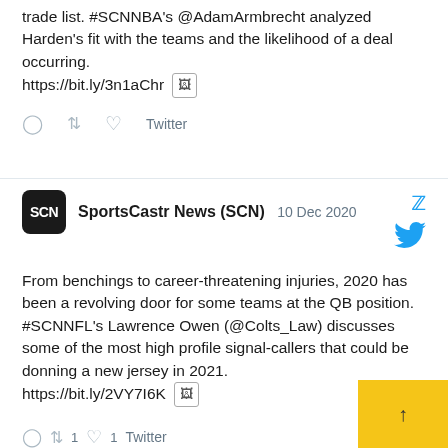trade list. #SCNNBA's @AdamArmbrecht analyzed Harden's fit with the teams and the likelihood of a deal occurring. https://bit.ly/3n1aChr [image]
reply retweet like Twitter
SportsCastr News (SCN) 10 Dec 2020
From benchings to career-threatening injuries, 2020 has been a revolving door for some teams at the QB position. #SCNNFL's Lawrence Owen (@Colts_Law) discusses some of the most high profile signal-callers that could be donning a new jersey in 2021. https://bit.ly/2VY7I6K [image]
reply retweet 1 like 1 Twitter